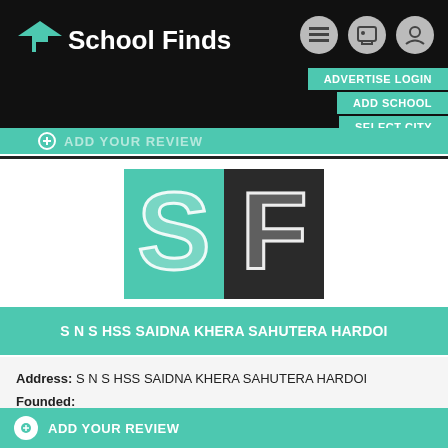School Finds
ADVERTISE LOGIN
ADD SCHOOL
SELECT CITY
ADD YOUR REVIEW
[Figure (logo): School Finds logo with S and F letters, teal and dark background]
S N S HSS SAIDNA KHERA SAHUTERA HARDOI
Address: S N S HSS SAIDNA KHERA SAHUTERA HARDOI
Founded:
Details: More Info
ADD YOUR REVIEW